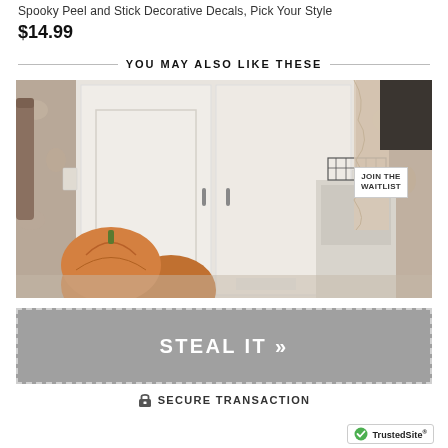Spooky Peel and Stick Decorative Decals, Pick Your Style
$14.99
YOU MAY ALSO LIKE THESE
[Figure (photo): Interior room photo showing a laundry area with white cabinets/doors, floral wallpaper, a wire basket on top of appliances, and pumpkins in the foreground. A 'JOIN THE WAITLIST' button overlay appears in the top right corner.]
STEAL IT >>
SECURE TRANSACTION
[Figure (logo): TrustedSite logo with green checkmark]